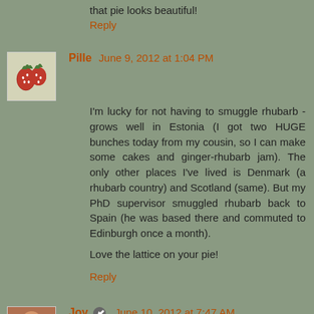that pie looks beautiful!
Reply
Pille June 9, 2012 at 1:04 PM
I'm lucky for not having to smuggle rhubarb - grows well in Estonia (I got two HUGE bunches today from my cousin, so I can make some cakes and ginger-rhubarb jam). The only other places I've lived is Denmark (a rhubarb country) and Scotland (same). But my PhD supervisor smuggled rhubarb back to Spain (he was based there and commuted to Edinburgh once a month).
Love the lattice on your pie!
Reply
Joy June 10, 2012 at 7:47 AM
Thanks everyone!
@Ahmet, I've looked for the wild rhubarb at the pazars